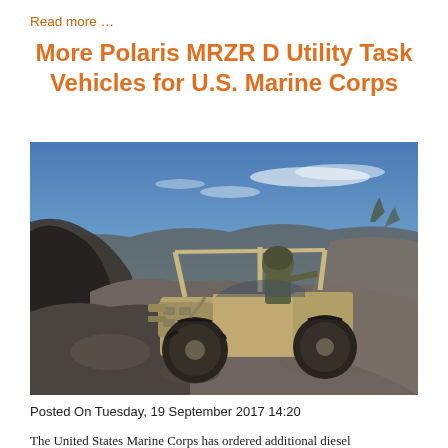Read more …
More Polaris MRZR D Utility Task Vehicles for U.S. Marine Corps
[Figure (photo): A tan/sand-colored Polaris MRZR D utility task vehicle climbing over rough rocky terrain, with a soldier seated inside wearing military gear and helmet. Blue sky with wispy clouds in background, arid landscape with sparse desert scrub.]
Posted On Tuesday, 19 September 2017 14:20
The United States Marine Corps has ordered additional diesel